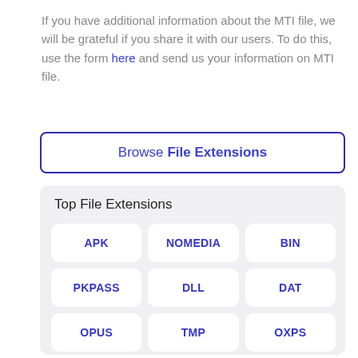If you have additional information about the MTI file, we will be grateful if you share it with our users. To do this, use the form here and send us your information on MTI file.
Browse File Extensions
Top File Extensions
APK
NOMEDIA
BIN
PKPASS
DLL
DAT
OPUS
TMP
OXPS
MKV